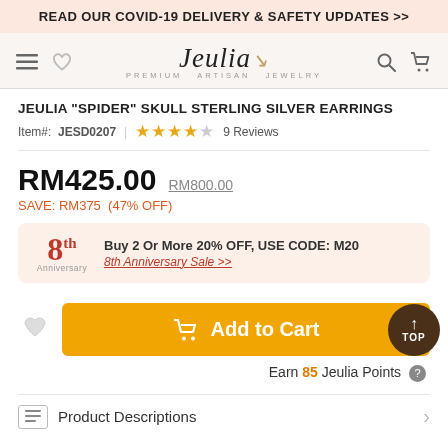READ OUR COVID-19 DELIVERY & SAFETY UPDATES >>
[Figure (logo): Jeulia Premium Artisan Jewelry logo with navigation icons (hamburger menu, heart, search, cart)]
JEULIA "SPIDER" SKULL STERLING SILVER EARRINGS
Item#: JESD0207 | ★★★★☆ 9 Reviews
RM425.00  RM800.00
SAVE: RM375  (47% OFF)
Buy 2 Or More 20% OFF, USE CODE: M20  8th Anniversary Sale >>
Add to Cart
Earn 85 Jeulia Points
Product Descriptions